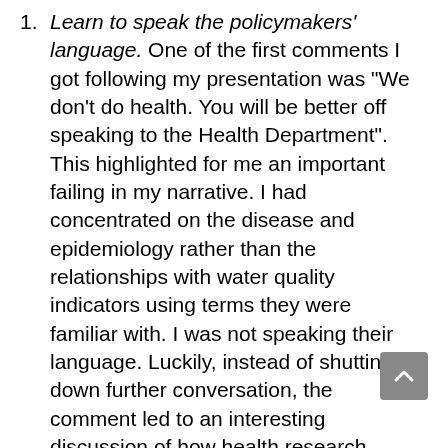1. Learn to speak the policymakers' language. One of the first comments I got following my presentation was “We don’t do health. You will be better off speaking to the Health Department”. This highlighted for me an important failing in my narrative. I had concentrated on the disease and epidemiology rather than the relationships with water quality indicators using terms they were familiar with. I was not speaking their language. Luckily, instead of shutting down further conversation, the comment led to an interesting discussion of how health research could fit within the Directorate’s current portfolios of maintaining water quality infrastructure.
2. Highlight resources that policymakers might not